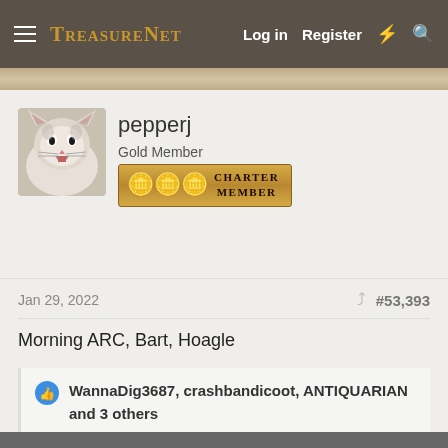TreasureNet  Log in  Register
[Figure (photo): Avatar photo of a cat with mouth open, white and gray fur]
pepperj
Gold Member
[Figure (illustration): Charter Member badge with gold coins]
Jan 29, 2022  #53,393
Morning ARC, Bart, Hoagle
WannaDig3687, crashbandicoot, ANTIQUARIAN and 3 others